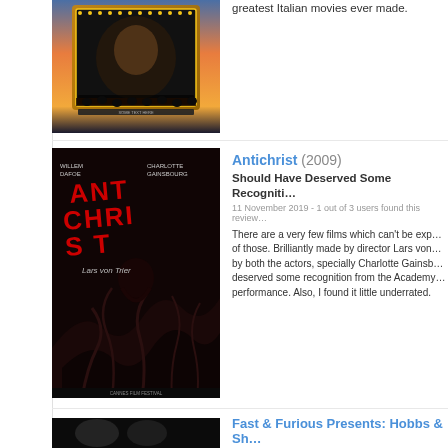[Figure (photo): Movie poster partially visible at top — colorful theatrical/concert poster with golden marquee lights against orange and blue sky]
greatest Italian movies ever made.
[Figure (photo): Movie poster for Antichrist (2009) — dark horror poster with red text on black background, featuring Willem Dafoe and Charlotte Gainsbourg credits and Lars von Trier's name]
Antichrist (2009)
Should Have Deserved Some Recogniti…
11 November 2019 - 1 out of 3 users found this review…
There are a very few films which can't be exp… of those. Brilliantly made by director Lars von… by both the actors, specially Charlotte Gainsb… deserved some recognition from the Academy… performance. Also, I found it little underrated.
[Figure (photo): Movie poster for Fast & Furious Presents: Hobbs & Shaw — dark action poster with two characters]
Fast & Furious Presents: Hobbs & Sh…
Not As Good As the Recent 'F&F' Movie…